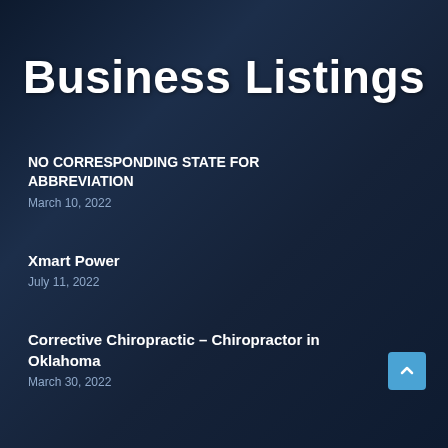Business Listings
NO CORRESPONDING STATE FOR ABBREVIATION
March 10, 2022
Xmart Power
July 11, 2022
Corrective Chiropractic – Chiropractor in Oklahoma
March 30, 2022